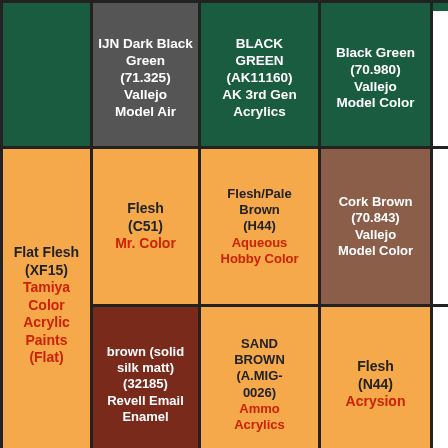| (dark green) | IJN Dark Black Green (71.325) Vallejo Model Air | BLACK GREEN (AK11160) AK 3rd Gen Acrylics | Black Green (70.980) Vallejo Model Color |  |
| Flat Flesh (XF15) Tamiya Color Acrylic Paints (Flat) | Flesh (C51) Mr. Color | Flesh/Pale Brown (H44) Aqueous Hobby Color | Cork Brown (70.843) Vallejo Model Color |  |
|  | brown (solid silk matt) (32185) Revell Email Enamel | SAND BROWN (A.MIG-0026) Ammo Acrylics | Flesh (N44) Acrysion |  |
|  | Desert Yellow | Camouflage Brown | Pale Sand (70.837) |  |